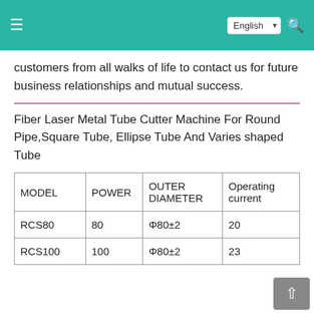English (navigation bar with hamburger menu and search icon)
customers from all walks of life to contact us for future business relationships and mutual success.
Fiber Laser Metal Tube Cutter Machine For Round Pipe,Square Tube, Ellipse Tube And Varies shaped Tube
| MODEL | POWER | OUTER DIAMETER | Operating current |
| --- | --- | --- | --- |
| RCS80 | 80 | Φ80±2 | 20 |
| RCS100 | 100 | Φ80±2 | 23 |